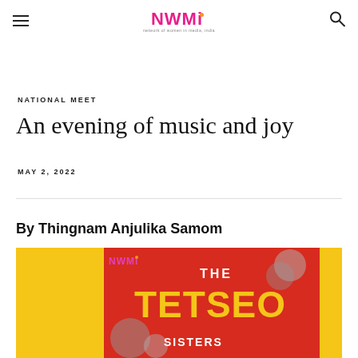NWMI — Network of Women in Media, India
NATIONAL MEET
An evening of music and joy
MAY 2, 2022
By Thingnam Anjulika Samom
[Figure (photo): Event poster for The Tetseo Sisters on a red and yellow background with decorative circles]